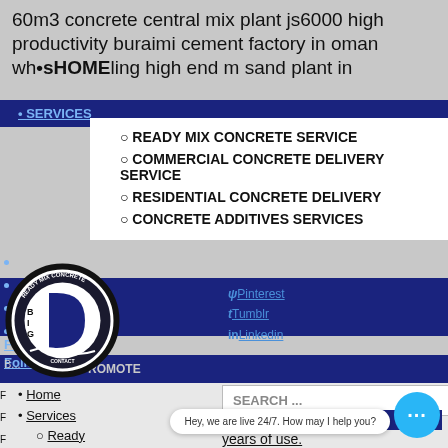60m3 concrete central mix plant js6000 high productivity buraimi cement factory in oman wholesale high end m sand plant in
HOME
SERVICES
READY MIX CONCRETE SERVICE
COMMERCIAL CONCRETE DELIVERY SERVICE
RESIDENTIAL CONCRETE DELIVERY
CONCRETE ADDITIVES SERVICES
[Figure (logo): Big D Ready Mix Concrete circular logo with letter D and text around the border]
Pinterest Tumblr Linkedin
Follow Follow
Home
Services
Ready Mix Concrete Service
Commercial
SEARCH ...
Hey, we are live 24/7. How may I help you?
years of use.